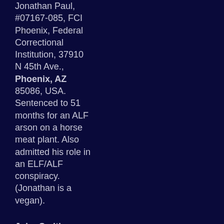Jonathan Paul, #07167-085, FCI Phoenix, Federal Correctional Institution, 37910 N 45th Ave., Phoenix, AZ 85086, USA. Sentenced to 51 months for an ALF arson on a horse meat plant. Also admitted his role in an ELF/ALF conspiracy. (Jonathan is a vegan).
John Smith, TB4887, HMP Lindholme, Bawtry Road, Hatfield Woodhouse,